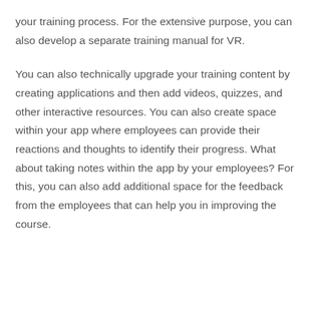your training process. For the extensive purpose, you can also develop a separate training manual for VR.
You can also technically upgrade your training content by creating applications and then add videos, quizzes, and other interactive resources. You can also create space within your app where employees can provide their reactions and thoughts to identify their progress. What about taking notes within the app by your employees? For this, you can also add additional space for the feedback from the employees that can help you in improving the course.